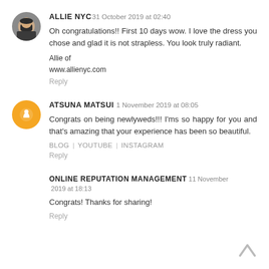ALLIE NYC 31 October 2019 at 02:40
Oh congratulations!! First 10 days wow. I love the dress you chose and glad it is not strapless. You look truly radiant.

Allie of
www.allienyc.com

Reply
ATSUNA MATSUI 1 November 2019 at 08:05
Congrats on being newlyweds!!! I'ms so happy for you and that's amazing that your experience has been so beautiful.

BLOG | YOUTUBE | INSTAGRAM

Reply
ONLINE REPUTATION MANAGEMENT 11 November 2019 at 18:13
Congrats! Thanks for sharing!

Reply